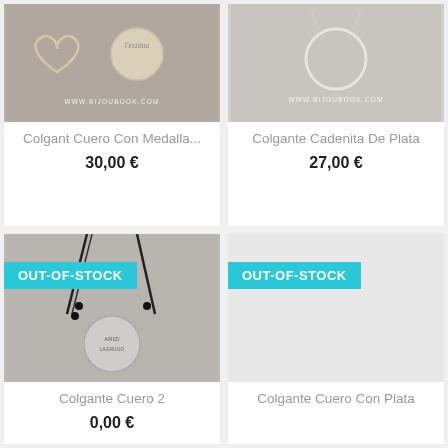[Figure (photo): Jewelry product photo showing a heart charm and a round medal pendant with text 'l'estima', watermark www.bijoubook.com]
Colgant Cuero Con Medalla...
30,00 €
[Figure (photo): Jewelry product photo showing a silver circle/ring pendant on a chain, watermark www.bijoubook.com]
Colgante Cadenita De Plata
27,00 €
OUT-OF-STOCK
[Figure (photo): Jewelry product photo showing a leather cord necklace with a round engraved silver medal pendant and black beads]
Colgante Cuero 2
0,00 €
OUT-OF-STOCK
[Figure (photo): OUT-OF-STOCK item, no product image shown, white background]
Colgante Cuero Con Plata